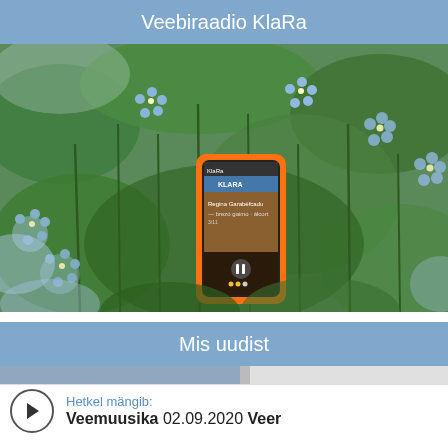Veebiraadio KlaRa
[Figure (photo): A smartphone with an orange case sitting among forget-me-not blue flowers and green stems, displaying a radio/music app interface on its screen.]
Mis uudist
Hetkel mängib: Veemuusika 02.09.2020 Veer